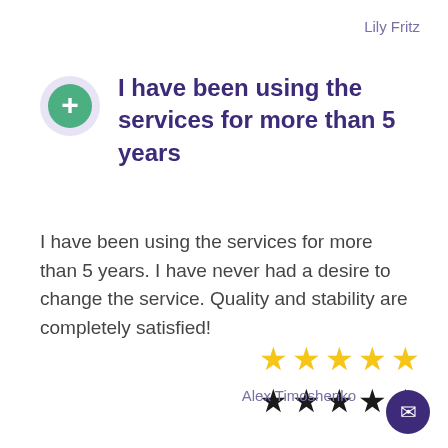Lily Fritz
I have been using the services for more than 5 years
I have been using the services for more than 5 years. I have never had a desire to change the service. Quality and stability are completely satisfied!
[Figure (other): Two rows of 5 stars each: top row gold stars, bottom row black stars, representing a rating display]
Alex Timoshenko